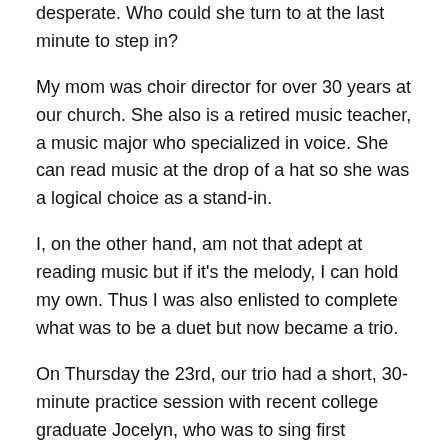desperate. Who could she turn to at the last minute to step in?
My mom was choir director for over 30 years at our church. She also is a retired music teacher, a music major who specialized in voice. She can read music at the drop of a hat so she was a logical choice as a stand-in.
I, on the other hand, am not that adept at reading music but if it's the melody, I can hold my own. Thus I was also enlisted to complete what was to be a duet but now became a trio.
On Thursday the 23rd, our trio had a short, 30-minute practice session with recent college graduate Jocelyn, who was to sing first soprano. I was to be second soprano and my mom, alto.